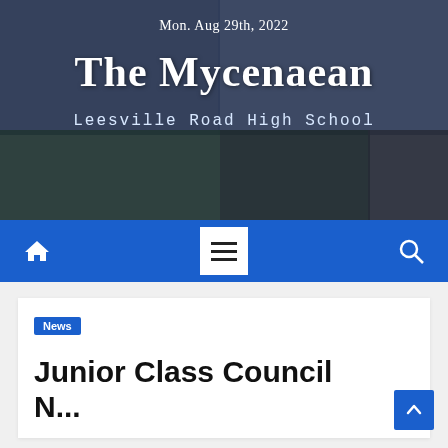Mon. Aug 29th, 2022
The Mycenaean
Leesville Road High School
[Figure (screenshot): Navigation bar with home icon, hamburger menu button, and search icon on a blue background]
News
Junior Class Council N... (truncated by page)